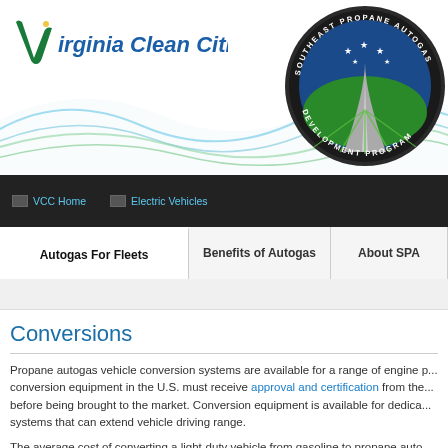[Figure (logo): Virginia Clean Cities logo with stylized V and text in green and blue italic font]
[Figure (logo): Southeast Propane Autogas Development Program circular logo with road, green fields, stars and dark border]
[Figure (infographic): Wave graphic decoration with blue and green wavy lines across header]
VCC Home | Electric Vehicles
Autogas For Fleets | Benefits of Autogas | About SPA
Conversions
Propane autogas vehicle conversion systems are available for a range of engine p... conversion equipment in the U.S. must receive approval and certification from the... before being brought to the market. Conversion equipment is available for dedica... systems that can extend vehicle driving range.
The average cost of converting a light-duty vehicle from gasoline to propane auto...